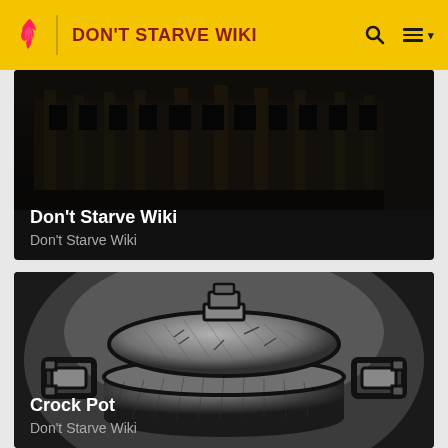DON'T STARVE WIKI
[Figure (screenshot): Dark gothic building background for Don't Starve Wiki card]
Don't Starve Wiki
Don't Starve Wiki
[Figure (illustration): Illustrated Crock Pot item from Don't Starve game, showing a dark cauldron with lid and handles on a gradient background]
Crock Pot
Don't Starve Wiki